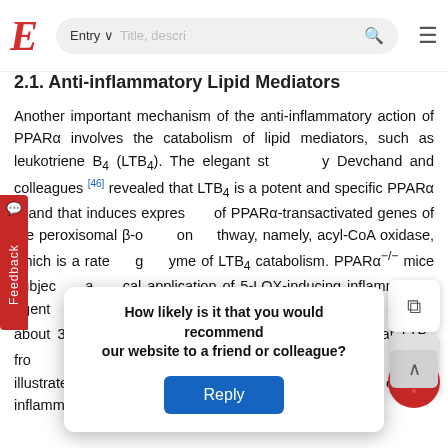E  [Entry ▾]  [Title, descri…] 🔍  ≡
2.1. Anti-inflammatory Lipid Mediators
Another important mechanism of the anti-inflammatory action of PPARα involves the catabolism of lipid mediators, such as leukotriene B4 (LTB4). The elegant study by Devchand and colleagues [46] revealed that LTB4 is a potent and specific PPARα ligand that induces expression of PPARα-transactivated genes of the peroxisomal β-oxidation pathway, namely, acyl-CoA oxidase, which is a rate-limiting enzyme of LTB4 catabolism. PPARα−/− mice subjected to a topical application of 5-LOX-inducing inflammatory agent LTB4 showed signs of tissue inflammation much greater (about 30–40%) than wt mice, which were able to clear LTB4 from… …important of biological role of inflammatory… …regulation
How likely is it that you would recommend our website to a friend or colleague?
Reply